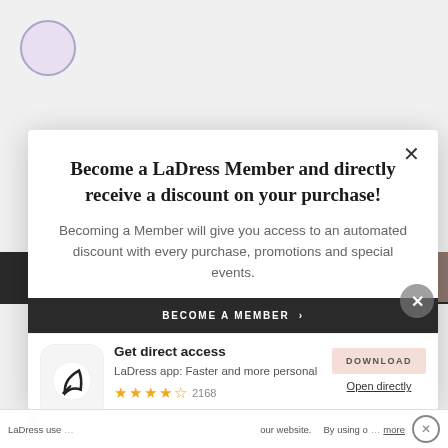[Figure (screenshot): Background webpage with LaDress logo circle, partial text and UI elements]
Become a LaDress Member and directly receive a discount on your purchase!
Becoming a Member will give you access to an automated discount with every purchase, promotions and special events.
[Figure (infographic): App download banner with LaDress app icon (D logo), Get direct access text, star rating 2168 reviews, DOWNLOAD button, Open directly link]
LaDress use... our website. By using o... more